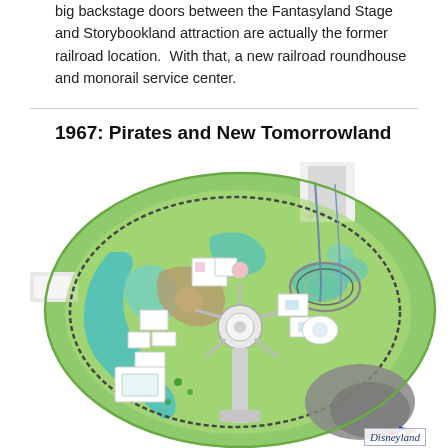big backstage doors between the Fantasyland Stage and Storybookland attraction are actually the former railroad location.  With that, a new railroad roundhouse and monorail service center.
1967: Pirates and New Tomorrowland
[Figure (map): Disneyland park map from 1967 showing Pirates of the Caribbean addition and New Tomorrowland layout, with color-coded areas including green outer border, teal water features, brown earth tones, white building footprints, and gray backstage areas. Disneyland logo watermark in bottom right.]